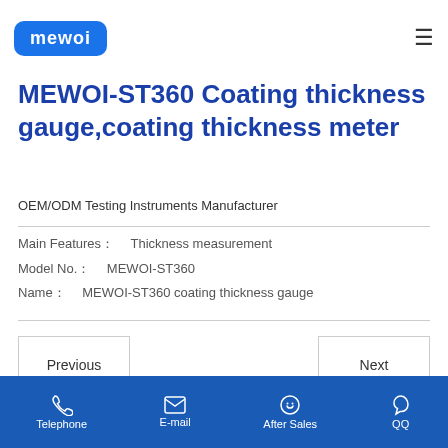MEWOI
MEWOI-ST360 Coating thickness gauge,coating thickness meter
OEM/ODM Testing Instruments Manufacturer
Main Features： Thickness measurement
Model No.：  MEWOI-ST360
Name：  MEWOI-ST360 coating thickness gauge
Telephone  E-mail  After Sales  QQ